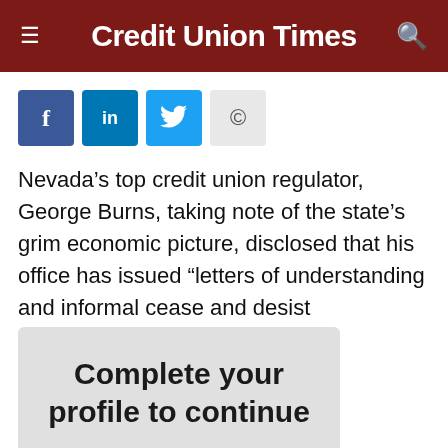Credit Union Times
[Figure (other): Social sharing buttons: Facebook, LinkedIn, Twitter, and a copyright/copy button]
Nevada's top credit union regulator, George Burns, taking note of the state's grim economic picture, disclosed that his office has issued “letters of understanding and informal cease and desist
Complete your profile to continue